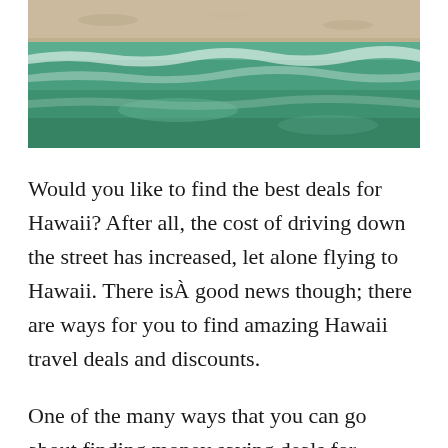[Figure (photo): Aerial view of a Hawaiian beach with sandy shore and turquoise/green ocean waves]
Would you like to find the best deals for Hawaii? After all, the cost of driving down the street has increased, let alone flying to Hawaii. There isÂ good news though; there are ways for you to find amazing Hawaii travel deals and discounts.
One of the many ways that you can go about finding money saving deals for Hawaii and discounts is by using the internet to your advantage. In addition to simply just comparing prices, be sure to examine